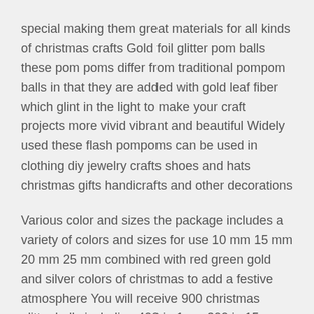special making them great materials for all kinds of christmas crafts Gold foil glitter pom balls these pom poms differ from traditional pompom balls in that they are added with gold leaf fiber which glint in the light to make your craft projects more vivid vibrant and beautiful Widely used these flash pompoms can be used in clothing diy jewelry crafts shoes and hats christmas gifts handicrafts and other decorations
Various color and sizes the package includes a variety of colors and sizes for use 10 mm 15 mm 20 mm 25 mm combined with red green gold and silver colors of christmas to add a festive atmosphere You will receive 900 christmas glitter balls including 400 in 1 cm 300 in 15 cm 100 in 2 cm 100 in 25 cm various quantities for various process items